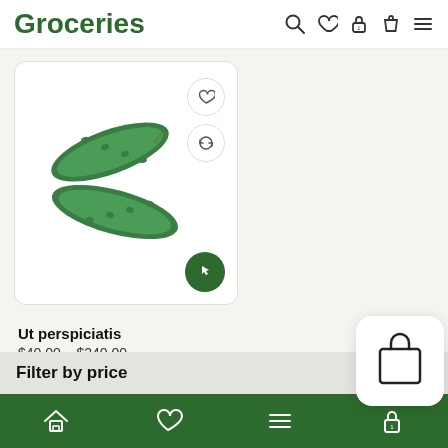Groceries
[Figure (photo): Product listing page showing two cucumbers on a white background inside a rounded card with heart, refresh, and pointer icons]
Ut perspiciatis
$40.00 – $240.00
Filter by price
[Figure (screenshot): Mobile bottom navigation bar with home, heart, menu, and lock icons on a dark green background, plus a floating shopping bag icon]